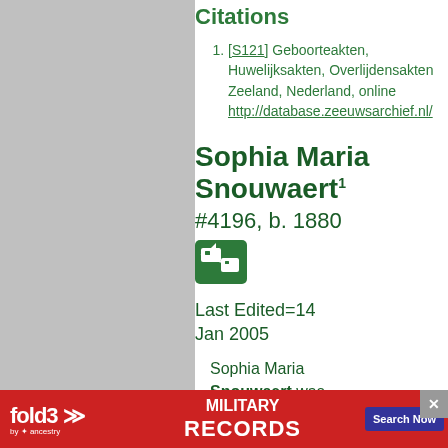Citations
[S121] Geboorteakten, Huwelijksakten, Overlijdensakten Zeeland, Nederland, online http://database.zeeuwsarchief.nl/
Sophia Maria Snouwaert
#4196, b. 1880
Last Edited=14 Jan 2005
Sophia Maria Snouwaert was born in 1880 at
[Figure (other): Fold3 Military Records advertisement banner with red background, fold3 logo, and Search Now button]